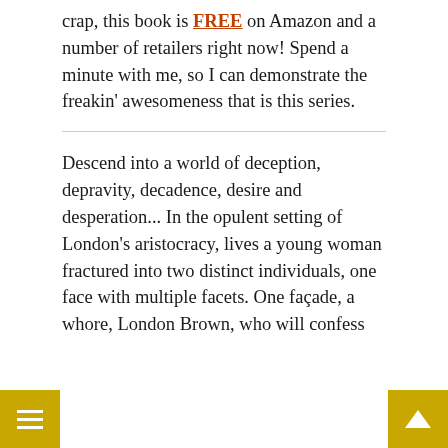crap, this book is FREE on Amazon and a number of retailers right now! Spend a minute with me, so I can demonstrate the freakin' awesomeness that is this series.
Descend into a world of deception, depravity, decadence, desire and desperation... In the opulent setting of London's aristocracy, lives a young woman fractured into two distinct individuals, one face with multiple facets. One façade, a whore, London Brown, who will confess